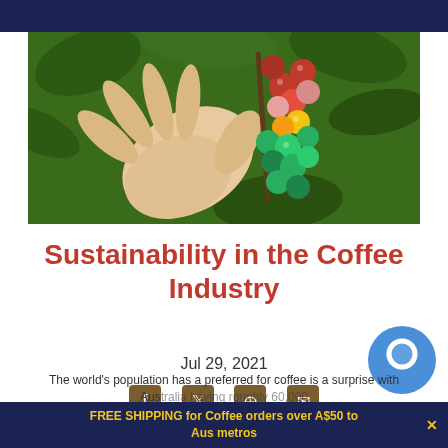[Figure (photo): A hand holding a branch of coffee cherries in various stages of ripeness — red, yellow, and green berries — against a blurred green leafy background.]
Sustainability in the Coffee Industry
Jul 29, 2021
[Figure (infographic): Social sharing icons: Facebook, Twitter, Pinterest, Email]
FREE SHIPPING for Coffee orders over A$50 to Aus metros